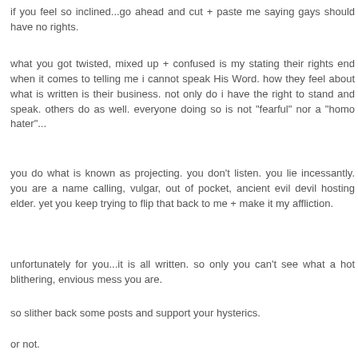if you feel so inclined...go ahead and cut + paste me saying gays should have no rights.
what you got twisted, mixed up + confused is my stating their rights end when it comes to telling me i cannot speak His Word. how they feel about what is written is their business. not only do i have the right to stand and speak. others do as well. everyone doing so is not "fearful" nor a "homo hater"...
you do what is known as projecting. you don't listen. you lie incessantly. you are a name calling, vulgar, out of pocket, ancient evil devil hosting elder. yet you keep trying to flip that back to me + make it my affliction.
unfortunately for you...it is all written. so only you can't see what a hot blithering, envious mess you are.
so slither back some posts and support your hysterics.
or not.